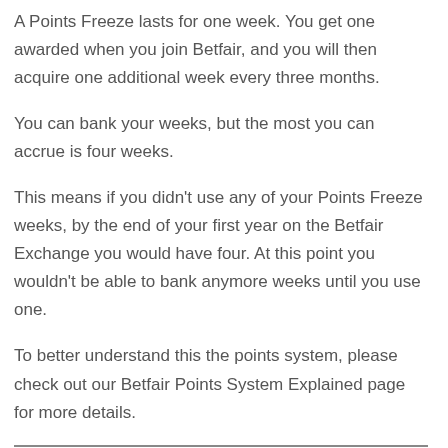A Points Freeze lasts for one week. You get one awarded when you join Betfair, and you will then acquire one additional week every three months.
You can bank your weeks, but the most you can accrue is four weeks.
This means if you didn't use any of your Points Freeze weeks, by the end of your first year on the Betfair Exchange you would have four. At this point you wouldn't be able to bank anymore weeks until you use one.
To better understand this the points system, please check out our Betfair Points System Explained page for more details.
Betfair Points Freeze; Key Points:-